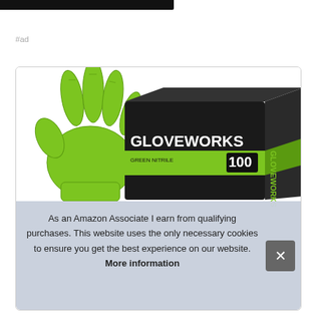# GLOVEWORKS
#ad
[Figure (photo): Product photo of Gloveworks brand green nitrile gloves and a box of 100 gloves against a white background. A bright green latex glove is shown raised beside a black and green product box labeled GLOVEWORKS 100.]
As an Amazon Associate I earn from qualifying purchases. This website uses the only necessary cookies to ensure you get the best experience on our website. More information